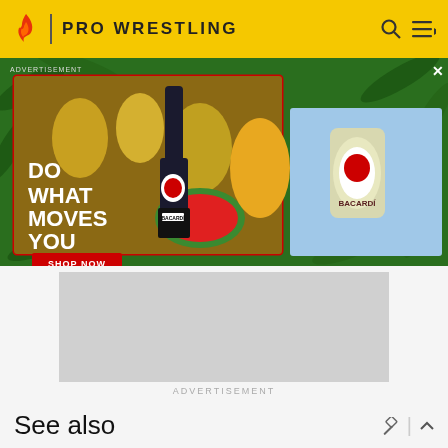PRO WRESTLING
[Figure (photo): Bacardi advertisement banner showing tropical fruits, pineapples, a Bacardi rum bottle, and watermelons with text 'DO WHAT MOVES YOU' and a 'SHOP NOW' button. A second image shows a hand holding a Bacardi can.]
ADVERTISEMENT
See also
WWE Elite 70
| WWE Elite | [Collapse] |
| --- | --- |